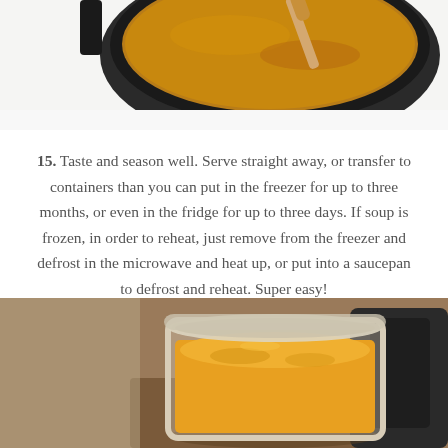[Figure (photo): Top-down view of a dark pot with golden/brown soup being stirred with a wooden spoon, yellow liquid splattered on white surface around the pot.]
15. Taste and season well. Serve straight away, or transfer to containers than you can put in the freezer for up to three months, or even in the fridge for up to three days. If soup is frozen, in order to reheat, just remove from the freezer and defrost in the microwave and heat up, or put into a saucepan to defrost and reheat. Super easy!
[Figure (photo): A clear plastic container filled with bright orange/yellow soup, with a dark blender or appliance visible in the background.]